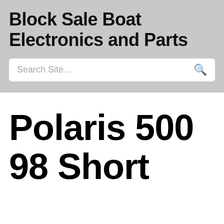Block Sale Boat Electronics and Parts
Search Site...
Polaris 500 98 Short